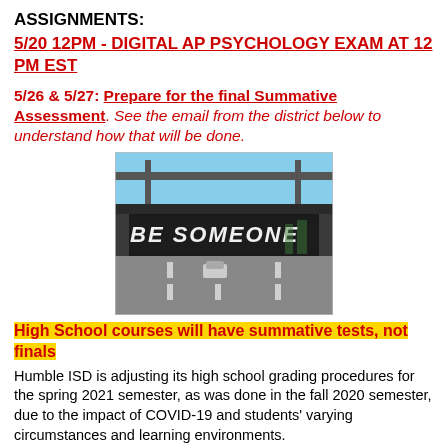ASSIGNMENTS:
5/20 12PM - DIGITAL AP PSYCHOLOGY EXAM AT 12 PM EST
5/26 & 5/27: Prepare for the final Summative Assessment. See the email from the district below to understand how that will be done.
[Figure (photo): Overpass bridge with 'BE SOMEONE' graffiti text painted on it, highway with cars below, urban setting]
High School courses will have summative tests, not finals
Humble ISD is adjusting its high school grading procedures for the spring 2021 semester, as was done in the fall 2020 semester, due to the impact of COVID-19 and students' varying circumstances and learning environments.